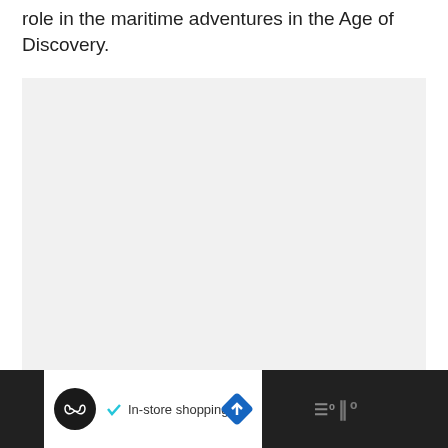role in the maritime adventures in the Age of Discovery.
[Figure (other): Light gray placeholder rectangle for an image]
[Figure (other): Advertisement bar at the bottom showing an infinity-loop icon, a checkmark, 'In-store shopping' text, a blue diamond arrow icon, and a dark wavy-text logo on the right]